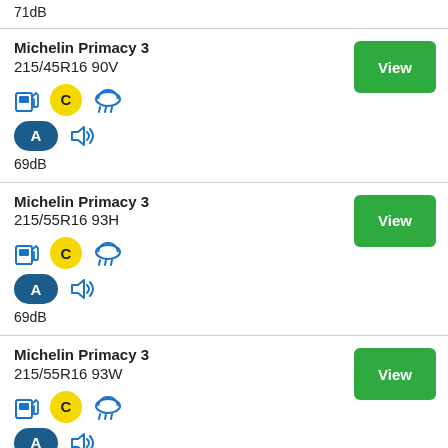71dB
Michelin Primacy 3 215/45R16 90V — fuel: C, wet: rain, noise: A, 69dB
Michelin Primacy 3 215/55R16 93H — fuel: C, wet: rain, noise: A, 69dB
Michelin Primacy 3 215/55R16 93W — fuel: C, wet: rain, noise: A, 69dB